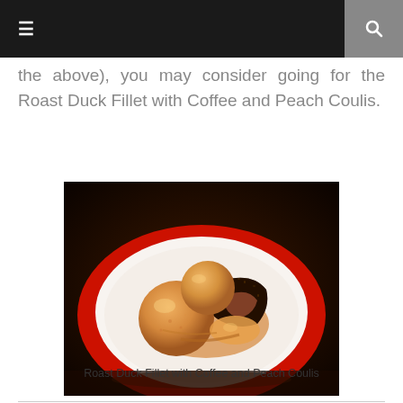☰  🔍
the above), you may consider going for the Roast Duck Fillet with Coffee and Peach Coulis.
[Figure (photo): A plated dish of Roast Duck Fillet with Coffee and Peach Coulis on a white plate with a red rim, served with peach slices and sauce, photographed in dark ambient lighting.]
Roast Duck Fillet with Coffee and Peach Coulis